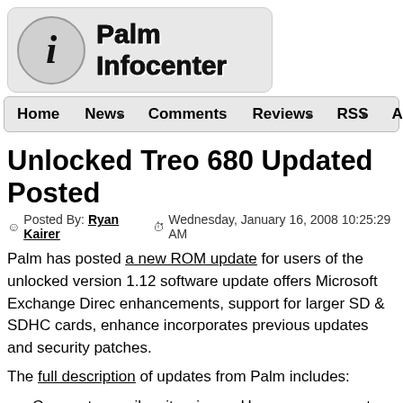[Figure (logo): Palm Infocenter logo with info circle icon and bold text]
Home  News ▼  Comments  Reviews ▼  RSS ▼  About
Unlocked Treo 680 Updated Posted
Posted By: Ryan Kairer  Wednesday, January 16, 2008 10:25:29 AM
Palm has posted a new ROM update for users of the unlocked version 1.12 software update offers Microsoft Exchange DirectPush enhancements, support for larger SD & SDHC cards, enhanced incorporates previous updates and security patches.
The full description of updates from Palm includes:
Corporate email as it arrives – Have your corporate ema Technology. Accept or decline meeting invites and acces
Power saving enhancements – Helps conserve battery b updated default system power preferences.